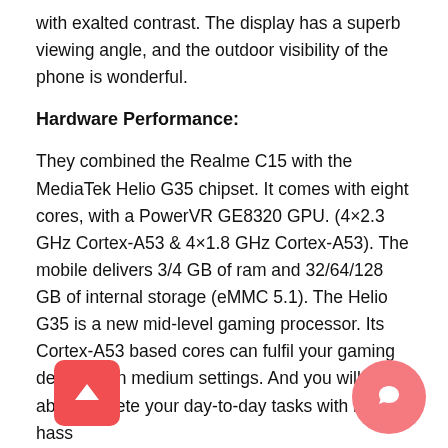with exalted contrast. The display has a superb viewing angle, and the outdoor visibility of the phone is wonderful.
Hardware Performance:
They combined the Realme C15 with the MediaTek Helio G35 chipset. It comes with eight cores, with a PowerVR GE8320 GPU. (4×2.3 GHz Cortex-A53 & 4×1.8 GHz Cortex-A53). The mobile delivers 3/4 GB of ram and 32/64/128 GB of internal storage (eMMC 5.1). The Helio G35 is a new mid-level gaming processor. Its Cortex-A53 based cores can fulfil your gaming demands in medium settings. And you will be able to complete your day-to-day tasks with no hass